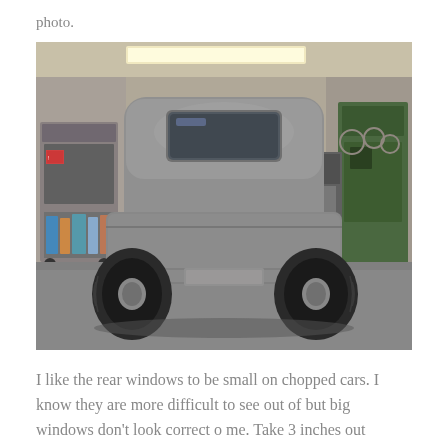photo.
[Figure (photo): Rear view of an unpainted steel/metal hot rod car body in a garage workshop. The car has a small rectangular rear window, small rear tires visible on both sides, red tail lights, and a license plate frame. The garage contains various equipment, machines, and supplies in the background.]
I like the rear windows to be small on chopped cars. I know they are more difficult to see out of but big windows don't look correct o me. Take 3 inches out